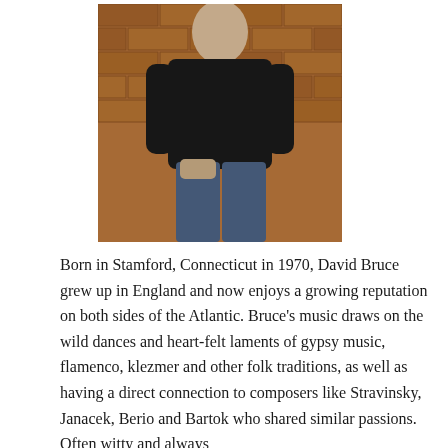[Figure (photo): A man wearing a black shirt and blue jeans standing in front of a brick wall, photographed from approximately waist up.]
Born in Stamford, Connecticut in 1970, David Bruce grew up in England and now enjoys a growing reputation on both sides of the Atlantic. Bruce's music draws on the wild dances and heart-felt laments of gypsy music, flamenco, klezmer and other folk traditions, as well as having a direct connection to composers like Stravinsky, Janacek, Berio and Bartok who shared similar passions. Often witty and always